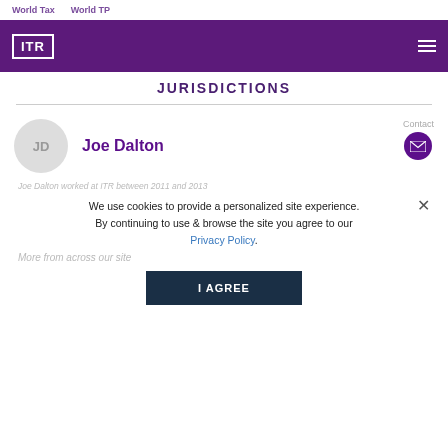World Tax   World TP
[Figure (logo): ITR logo in white on purple background with hamburger menu icon]
JURISDICTIONS
JD
Joe Dalton
Contact
Joe Dalton worked at ITR between 2011 and 2013
We use cookies to provide a personalized site experience. By continuing to use & browse the site you agree to our Privacy Policy.
More from across our site
I AGREE